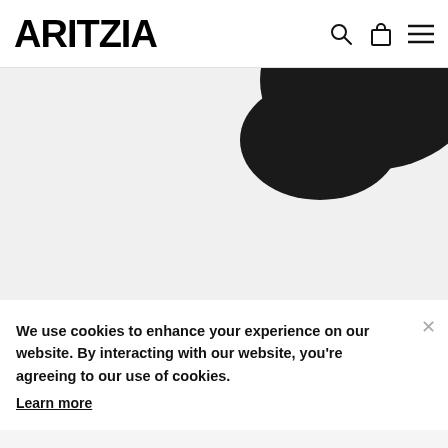ARITZIA
[Figure (photo): Product photo area showing a dark curved/blob shape at top, light grey background below; partial view of a satin face/beauty product]
Aritzia Community
Sculpted Satin Face   $12 $5
We use cookies to enhance your experience on our website. By interacting with our website, you're agreeing to our use of cookies.
Learn more